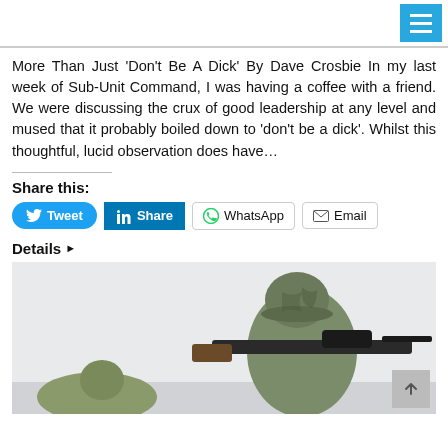[hamburger menu icon]
More Than Just ‘Don’t Be A Dick’ By Dave Crosbie In my last week of Sub-Unit Command, I was having a coffee with a friend. We were discussing the crux of good leadership at any level and mused that it probably boiled down to ‘don’t be a dick’. Whilst this thoughtful, lucid observation does have…
Share this:
Tweet | Share | WhatsApp | Email
Details ▶
[Figure (photo): A soldier in camouflage uniform and helmet aiming a rifle with a scope, in a shooting stance. Another figure is partially visible in the lower left.]